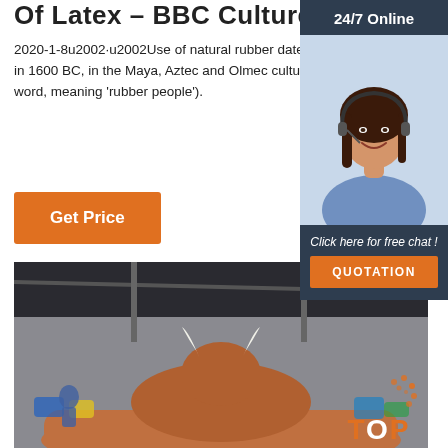Of Latex - BBC Culture
2020-1-8u2002·u2002Use of natural rubber dates back to Mesoamerica in 1600 BC, in the Maya, Aztec and Olmec cultures (Olmec is an Aztec word, meaning 'rubber people').
Get Price
[Figure (photo): Sidebar advertisement showing a woman with a headset smiling, with '24/7 Online' label, 'Click here for free chat!' text, and 'QUOTATION' orange button on dark navy background.]
[Figure (photo): Indoor photo of a mechanical bull ride setup inside a large industrial space, showing a brown inflatable bull with white horns on an inflatable pad, with colorful items in the background.]